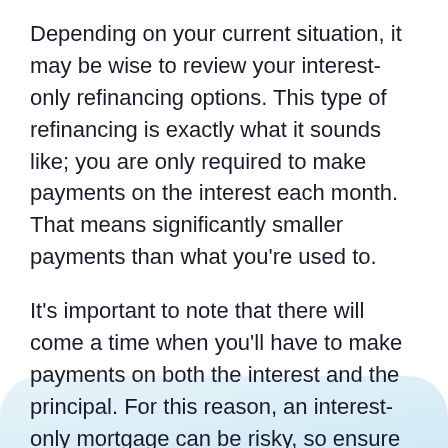Depending on your current situation, it may be wise to review your interest-only refinancing options. This type of refinancing is exactly what it sounds like; you are only required to make payments on the interest each month. That means significantly smaller payments than what you're used to.
It's important to note that there will come a time when you'll have to make payments on both the interest and the principal. For this reason, an interest-only mortgage can be risky, so ensure you're carefully weighing the pros and cons.